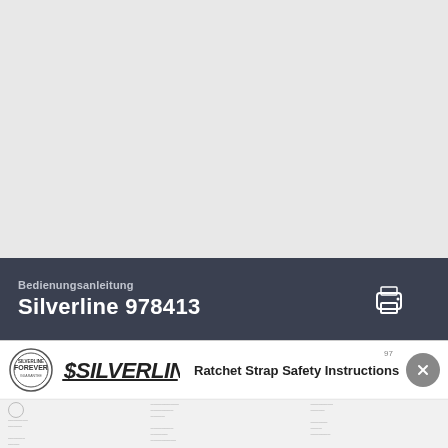Bedienungsanleitung
Silverline 978413
[Figure (logo): Silverline brand banner with Forever badge logo, Silverline logo, and text 'Ratchet Strap Safety Instructions']
Ratchet Strap Safety Instructions